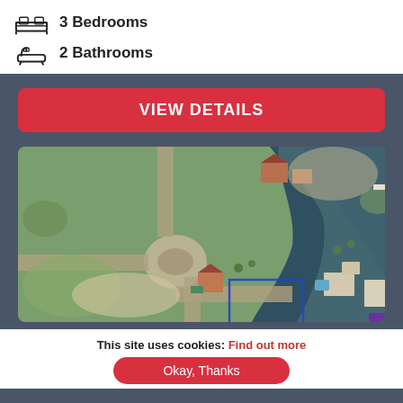3 Bedrooms
2 Bathrooms
VIEW DETAILS
[Figure (map): Aerial satellite map view of a waterfront property with a blue outlined lot near a curved canal or river, surrounded by green vegetation and neighboring homes.]
This site uses cookies: Find out more
Okay, Thanks